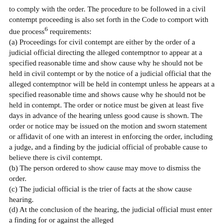to comply with the order. The procedure to be followed in a civil contempt proceeding is also set forth in the Code to comport with due process6 requirements: (a) Proceedings for civil contempt are either by the order of a judicial official directing the alleged contemptnor to appear at a specified reasonable time and show cause why he should not be held in civil contempt or by the notice of a judicial official that the alleged contemptnor will be held in contempt unless he appears at a specified reasonable time and shows cause why he should not be held in contempt. The order or notice must be given at least five days in advance of the hearing unless good cause is shown. The order or notice may be issued on the motion and sworn statement or affidavit of one with an interest in enforcing the order, including a judge, and a finding by the judicial official of probable cause to believe there is civil contempt. (b) The person ordered to show cause may move to dismiss the order. (c) The judicial official is the trier of facts at the show cause hearing. (d) At the conclusion of the hearing, the judicial official must enter a finding for or against the alleged